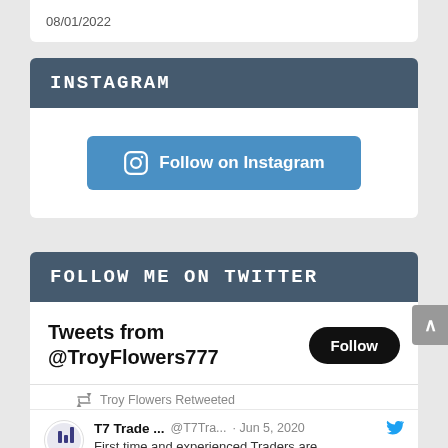08/01/2022
INSTAGRAM
[Figure (screenshot): Follow on Instagram button with Instagram icon]
FOLLOW ME ON TWITTER
Tweets from @TroyFlowers777
Troy Flowers Retweeted
T7 Trade ... @T7Tra... · Jun 5, 2020 First time and experienced Traders are